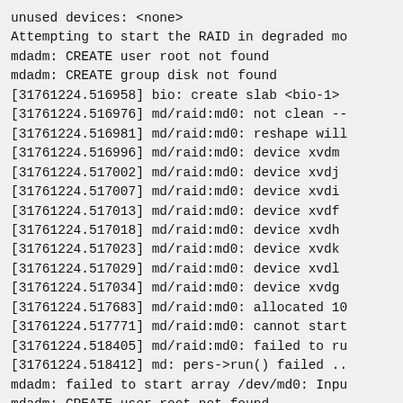unused devices: <none>
Attempting to start the RAID in degraded mo
mdadm: CREATE user root not found
mdadm: CREATE group disk not found
[31761224.516958] bio: create slab <bio-1>
[31761224.516976] md/raid:md0: not clean --
[31761224.516981] md/raid:md0: reshape will
[31761224.516996] md/raid:md0: device xvdm
[31761224.517002] md/raid:md0: device xvdj
[31761224.517007] md/raid:md0: device xvdi
[31761224.517013] md/raid:md0: device xvdf
[31761224.517018] md/raid:md0: device xvdh
[31761224.517023] md/raid:md0: device xvdk
[31761224.517029] md/raid:md0: device xvdl
[31761224.517034] md/raid:md0: device xvdg
[31761224.517683] md/raid:md0: allocated 10
[31761224.517771] md/raid:md0: cannot start
[31761224.518405] md/raid:md0: failed to ru
[31761224.518412] md: pers->run() failed ..
mdadm: failed to start array /dev/md0: Inpu
mdadm: CREATE user root not found